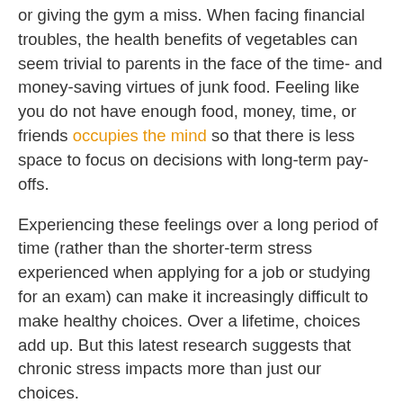or giving the gym a miss. When facing financial troubles, the health benefits of vegetables can seem trivial to parents in the face of the time- and money-saving virtues of junk food. Feeling like you do not have enough food, money, time, or friends occupies the mind so that there is less space to focus on decisions with long-term pay-offs.
Experiencing these feelings over a long period of time (rather than the shorter-term stress experienced when applying for a job or studying for an exam) can make it increasingly difficult to make healthy choices. Over a lifetime, choices add up. But this latest research suggests that chronic stress impacts more than just our choices.
...
We already know that children suffering from long-term stress build up higher levels of the stress hormone cortisol, making the body's response to threats from the outside world